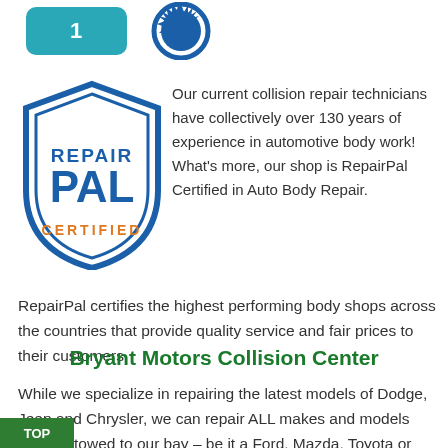[Figure (logo): Two logos at top: a teal rounded-rectangle logo on the left and a blue gear/certified badge logo on the right]
[Figure (logo): RepairPal Certified shield logo in blue and orange]
Our current collision repair technicians have collectively over 130 years of experience in automotive body work! What's more, our shop is RepairPal Certified in Auto Body Repair. RepairPal certifies the highest performing body shops across the countries that provide quality service and fair prices to their customers.
Bryant Motors Collision Center
While we specialize in repairing the latest models of Dodge, Jeep and Chrysler, we can repair ALL makes and models that get towed to our bay – be it a Ford, Mazda, Toyota or other manufacturer.
TOP